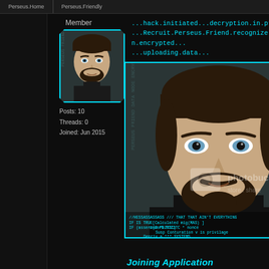Perseus.Home | Perseus.Friendly
Member
[Figure (photo): Small avatar portrait of a man with dark beard and hair, framed with cyan sci-fi border]
Posts: 10
Threads: 0
Joined: Jun 2015
...hack.initiated...decryption.in.progre
...Recruit.Perseus.Friend.recognize
n.encrypted...
...uploading.data...
[Figure (photo): Large portrait photo of a man with dark beard, blue eyes, wearing dark clothing. Photobucket watermark visible. Cyan sci-fi border frame. Code text overlay at bottom.]
Joining Application